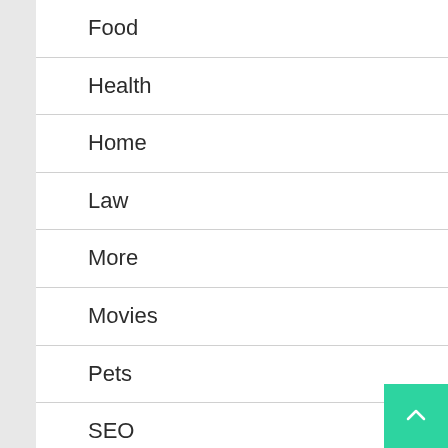Food
Health
Home
Law
More
Movies
Pets
SEO